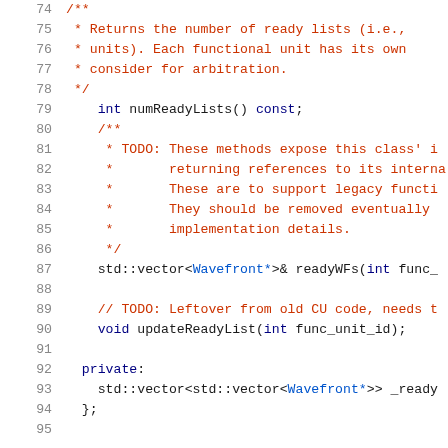[Figure (screenshot): C++ source code snippet showing lines 74-95 of a header file. Lines 74-78 show a Doxygen comment block about numReadyLists(). Line 79 declares 'int numReadyLists() const;'. Lines 80-86 show another Doxygen comment block about TODO legacy methods. Line 87 declares 'std::vector<Wavefront*>& readyWFs(int func_...)'. Line 89 has a TODO comment about old CU code. Line 90 declares 'void updateReadyList(int func_unit_id);'. Lines 92-94 show private section with std::vector<std::vector<Wavefront*>> _ready... and closing '};']